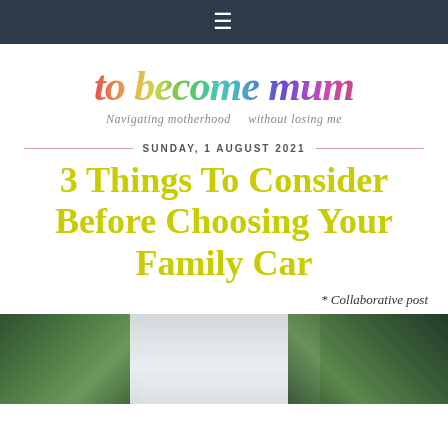≡
[Figure (logo): to become mum — rainbow watercolor script logo with tagline 'Navigating motherhood without losing me']
SUNDAY, 1 AUGUST 2021
3 Things To Consider Before Choosing Your Family Car
* Collaborative post
[Figure (photo): Photo showing green plants and a bright window in background]